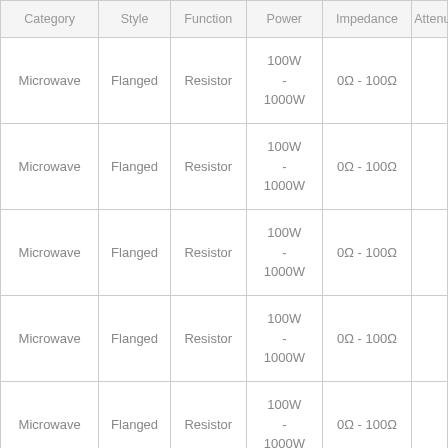| Category | Style | Function | Power | Impedance | Attenua… |
| --- | --- | --- | --- | --- | --- |
| Microwave | Flanged | Resistor | 100W - 1000W | 0Ω - 100Ω |  |
| Microwave | Flanged | Resistor | 100W - 1000W | 0Ω - 100Ω |  |
| Microwave | Flanged | Resistor | 100W - 1000W | 0Ω - 100Ω |  |
| Microwave | Flanged | Resistor | 100W - 1000W | 0Ω - 100Ω |  |
| Microwave | Flanged | Resistor | 100W - 1000W | 0Ω - 100Ω |  |